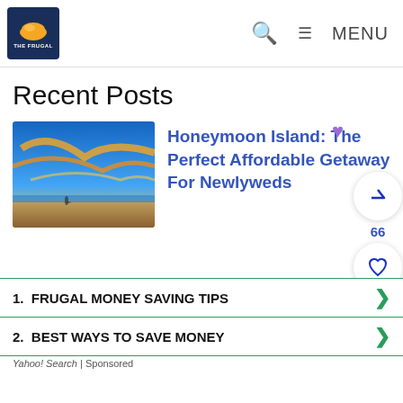THE FRUGAL [logo] | search | MENU
Recent Posts
[Figure (photo): Thumbnail image of a beach/sky scene with colorful sunset clouds and a beach shoreline]
Honeymoon Island: The Perfect Affordable Getaway For Newlyweds
Search for
1. FRUGAL MONEY SAVING TIPS
2. BEST WAYS TO SAVE MONEY
Yahoo! Search | Sponsored